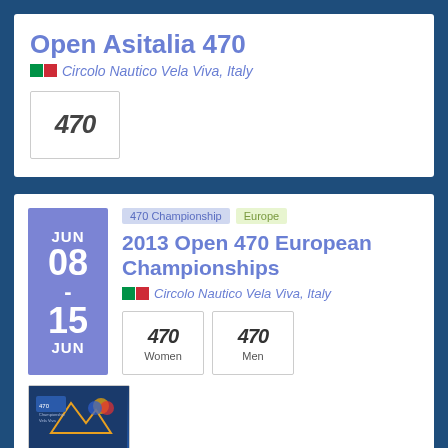Open Asitalia 470
Circolo Nautico Vela Viva, Italy
[Figure (logo): 470 logo in a bordered box]
JUN 08 - 15 JUN
470 Championship  Europe
2013 Open 470 European Championships
Circolo Nautico Vela Viva, Italy
[Figure (logo): Two 470 class logos labeled Women and Men]
[Figure (photo): 470 European Championships event thumbnail image with sailboat and event branding]